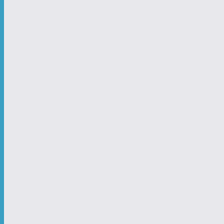case...over/under thumbrest screws..."wrap-around" register key. ("KESSELMAN-O'DRISCOLL Co. MILWAUKEE, WISC. DISTRIBUTORS" stamped on bell underneath diamond logo).
No S/N...ALBERT SYSTEM SOPRANO...Model 1544 (4-ring, roller pinky keys)...Hard Rubber..."Harry Pedler & Co." in diamond logo (stamped on mouthpiece, barrel and bell)...over/under thumbrest screws.
No S/N...ALBERT SYSTEM SOPRANO...Model 1544 (4 ring, flat non-roller pinky keys)...Hard Rubber..."Harry Pedler & Co." in diamond logo